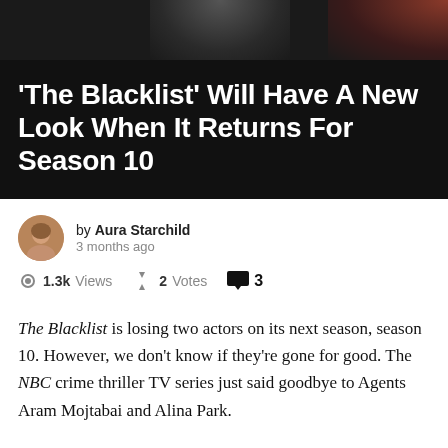[Figure (photo): Dark banner image with faint background scene, dark background with slight glow]
'The Blacklist' Will Have A New Look When It Returns For Season 10
by Aura Starchild
3 months ago
1.3k Views  2 Votes  3
The Blacklist is losing two actors on its next season, season 10. However, we don't know if they're gone for good. The NBC crime thriller TV series just said goodbye to Agents Aram Mojtabai and Alina Park.